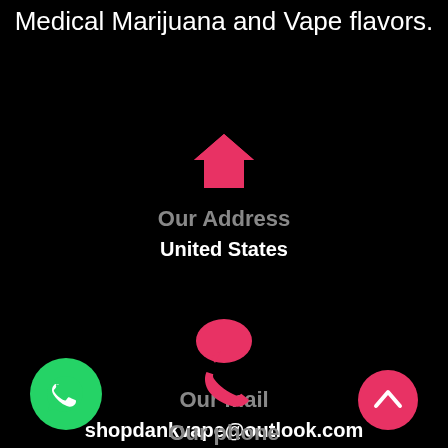Medical Marijuana and Vape flavors.
[Figure (illustration): Pink house/home icon]
Our Address
United States
[Figure (illustration): Pink chat/message bubble icon]
Our mail
shopdankvape@outlook.com
[Figure (illustration): Pink phone/call icon]
Our phone
[Figure (illustration): Green WhatsApp floating button (bottom left)]
[Figure (illustration): Pink scroll-to-top button (bottom right)]